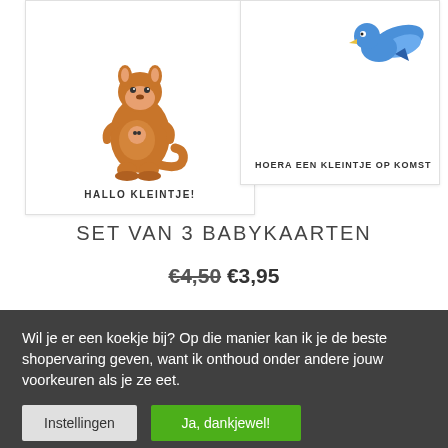[Figure (illustration): Two greeting cards shown: left card has a kangaroo illustration with text 'HALLO KLEINTJE!', right card has a bird illustration with text 'HOERA EEN KLEINTJE OP KOMST']
SET VAN 3 BABYKAARTEN
€4,50 €3,95
Wil je er een koekje bij? Op die manier kan ik je de beste shopervaring geven, want ik onthoud onder andere jouw voorkeuren als je ze eet.
Instellingen
Ja, dankjewel!